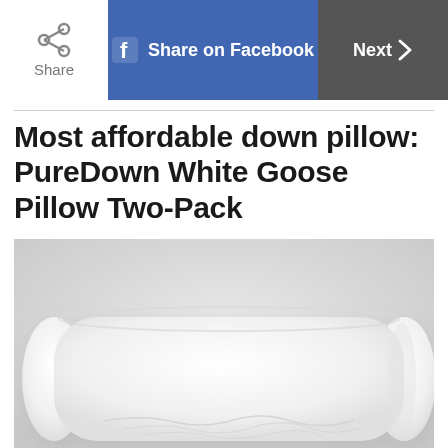Share | Share on Facebook | Next
Most affordable down pillow: PureDown White Goose Pillow Two-Pack
[Figure (photo): White goose down pillow photographed on a light gray background, showing a fluffy rectangular pillow with subtle wrinkle texture at the bottom.]